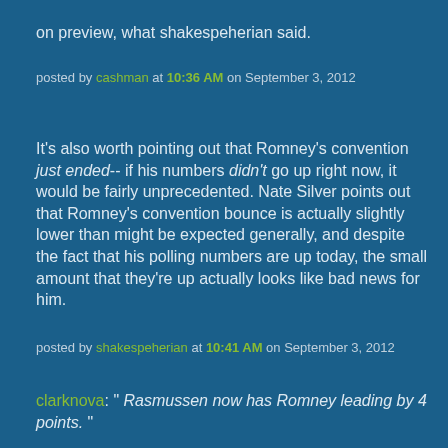on preview, what shakespeherian said.
posted by cashman at 10:36 AM on September 3, 2012
It's also worth pointing out that Romney's convention just ended-- if his numbers didn't go up right now, it would be fairly unprecedented. Nate Silver points out that Romney's convention bounce is actually slightly lower than might be expected generally, and despite the fact that his polling numbers are up today, the small amount that they're up actually looks like bad news for him.
posted by shakespeherian at 10:41 AM on September 3, 2012
clarknova: " Rasmussen now has Romney leading by 4 points. "